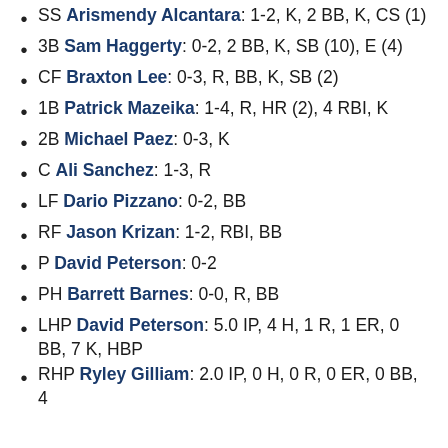SS Arismendy Alcantara: 1-2, K, 2 BB, K, CS (1)
3B Sam Haggerty: 0-2, 2 BB, K, SB (10), E (4)
CF Braxton Lee: 0-3, R, BB, K, SB (2)
1B Patrick Mazeika: 1-4, R, HR (2), 4 RBI, K
2B Michael Paez: 0-3, K
C Ali Sanchez: 1-3, R
LF Dario Pizzano: 0-2, BB
RF Jason Krizan: 1-2, RBI, BB
P David Peterson: 0-2
PH Barrett Barnes: 0-0, R, BB
LHP David Peterson: 5.0 IP, 4 H, 1 R, 1 ER, 0 BB, 7 K, HBP
RHP Ryley Gilliam: 2.0 IP, 0 H, 0 R, 0 ER, 0 BB, 4